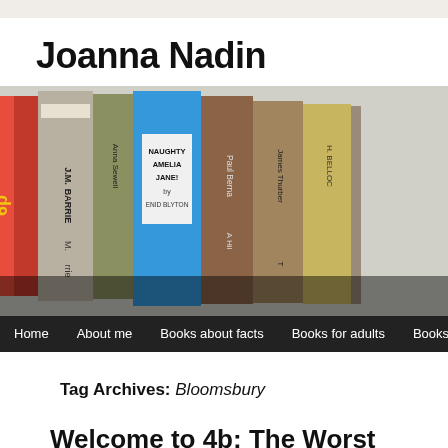Joanna Nadin
[Figure (photo): Close-up photograph of vintage book spines lined up, including titles such as 'Naughty Amelia Jane! by Enid Blyton', 'Anna Sewell', 'J.M. Barrie', 'Paul Berna', 'James Thurber', 'H. Belloc']
Home   About me   Books about facts   Books for adults   Books
Tag Archives: Bloomsbury
Welcome to 4b: The Worst Class in the W